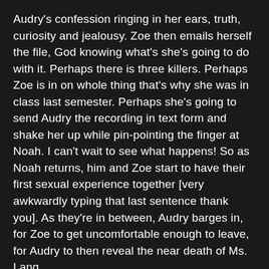Audry's confession ringing in her ears, truth, curiosity and jealousy. Zoe then emails herself the file, God knowing what's she's going to do with it. Perhaps there is three killers. Perhaps Zoe is in on whole thing that's why she was in class last semester. Perhaps she's going to send Audry the recording in text form and shake her up while pin-pointing the finger at Noah. I can't wait to see what happens! So as Noah returns, him and Zoe start to have their first sexual experience together [very awkwardly typing that last sentence thank you]. As they're in between, Audry barges in, for Zoe to get uncomfortable enough to leave, for Audry to then reveal the near death of Ms. Lang.
[Figure (other): Small image icon with red 'image' label text beside it]